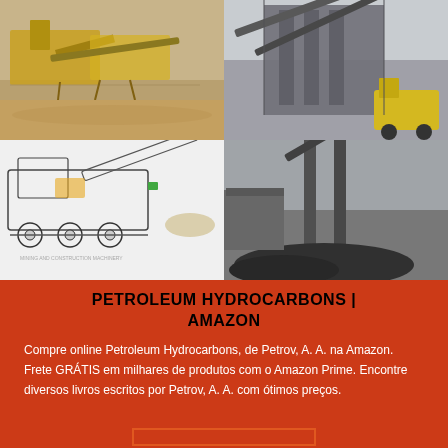[Figure (photo): Four industrial photos arranged in a 2x2 grid: top-left shows yellow mining/crushing equipment on a sandy site; top-right shows a large industrial conveyor and processing plant with yellow loader; bottom-left shows a line drawing/illustration of a mobile crushing machine on wheels with conveyor (MINING AND CONSTRUCTION MACHINERY label); bottom-right shows a coal conveyor belt and heavy machinery with a blue Live Chat speech bubble overlay in the bottom-right corner.]
PETROLEUM HYDROCARBONS | AMAZON
Compre online Petroleum Hydrocarbons, de Petrov, A. A. na Amazon. Frete GRÁTIS em milhares de produtos com o Amazon Prime. Encontre diversos livros escritos por Petrov, A. A. com ótimos preços.